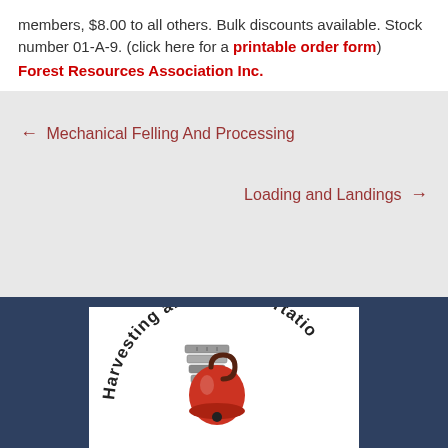members, $8.00 to all others. Bulk discounts available. Stock number 01-A-9. (click here for a printable order form) Forest Resources Association Inc.
← Mechanical Felling And Processing
Loading and Landings →
[Figure (logo): Circular logo with text 'Harvesting and Transportation' around the border, with an illustration of logging equipment (hook/chain and machinery)]